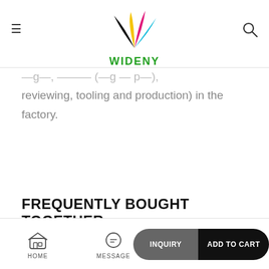[Figure (logo): Wideny logo with colorful leaf/feather shapes in yellow, pink, black and cyan above the bold green text WIDENY]
reviewing, tooling and production) in the factory.
FREQUENTLY BOUGHT TOGETHER
HOME | MESSAGE | INQUIRY | ADD TO CART